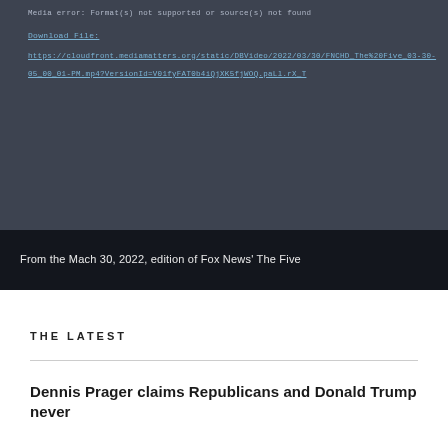Media error: Format(s) not supported or source(s) not found
Download File: https://cloudfront.mediamatters.org/static/DBVideo/2022/03/30/FNCHD_The%20Five_03-30-05_00_01-PM.mp4?VersionId=V01fyFAT0b4iQjXK5fjWOQ.paLl.rX_T
From the Mach 30, 2022, edition of Fox News' The Five
THE LATEST
Dennis Prager claims Republicans and Donald Trump never